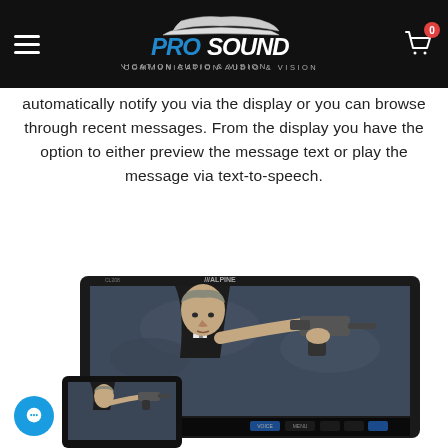ProSound Communication Audio & Vision — navigation header with logo and cart
automatically notify you via the display or you can browse through recent messages. From the display you have the option to either preview the message text or play the message via text-to-speech.
[Figure (photo): Alpine car stereo head unit displaying a suited man holding a gun (James Bond style), with a smaller tablet device in the lower left also showing the same image]